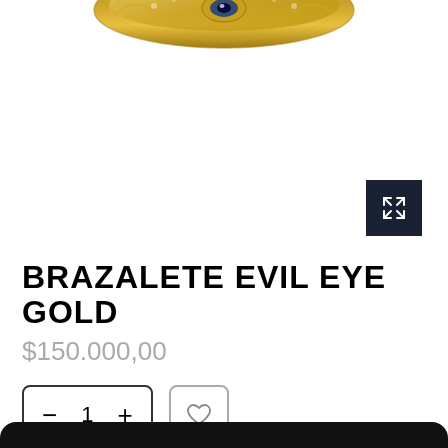[Figure (photo): Gold bracelet with evil eye design, partially visible at top of image on white background]
BRAZALETE EVIL EYE GOLD
$150.000,00
[Figure (infographic): Quantity selector control with minus, 1, plus buttons and a wishlist heart button]